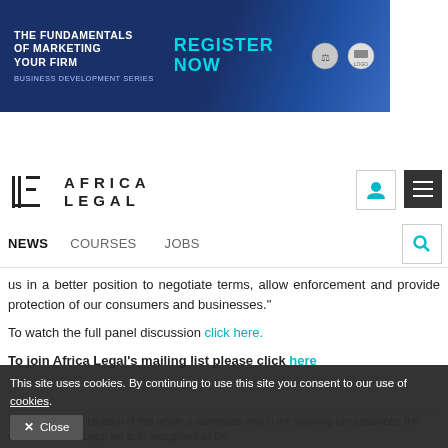[Figure (screenshot): Advertisement banner for 'The Fundamentals of Marketing Your Firm - Business Development Series' with 'REGISTER NOW' in teal text on a dark blue background with logos on the right.]
[Figure (logo): Africa Legal logo with stylized 'LE' icon and text 'AFRICA LEGAL']
NEWS   COURSES   JOBS
us in a better position to negotiate terms, allow enforcement and provide protection of our consumers and businesses."
To watch the full panel discussion click here.
To join Africa Legal's mailing list please click here
Copyright. The publication of this article is authorised only in the following circumstances: the writer and Africa Legal are both recognised as the author and the website africolegal.com...
This site uses cookies. By continuing to use this site you consent to our use of cookies.